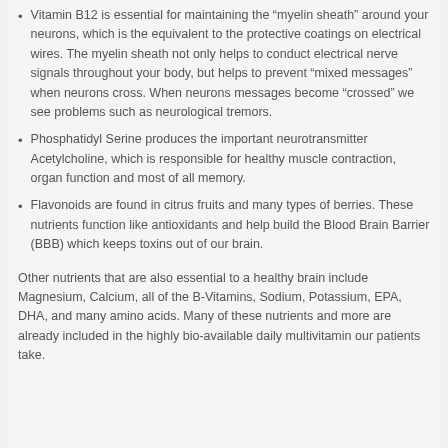Vitamin B12 is essential for maintaining the “myelin sheath” around your neurons, which is the equivalent to the protective coatings on electrical wires. The myelin sheath not only helps to conduct electrical nerve signals throughout your body, but helps to prevent “mixed messages” when neurons cross. When neurons messages become “crossed” we see problems such as neurological tremors.
Phosphatidyl Serine produces the important neurotransmitter Acetylcholine, which is responsible for healthy muscle contraction, organ function and most of all memory.
Flavonoids are found in citrus fruits and many types of berries. These nutrients function like antioxidants and help build the Blood Brain Barrier (BBB) which keeps toxins out of our brain.
Other nutrients that are also essential to a healthy brain include Magnesium, Calcium, all of the B-Vitamins, Sodium, Potassium, EPA, DHA, and many amino acids. Many of these nutrients and more are already included in the highly bio-available daily multivitamin our patients take.